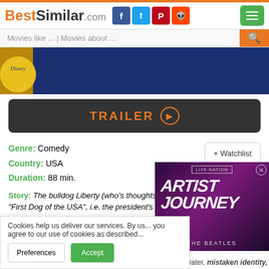BestSimilar.com
Movies like ... | Movies about ...
[Figure (screenshot): Disney movie banner with blue stars]
TRAILER
Genre: Comedy
Country: USA
Duration: 88 min.
+ Watchlist
Story: The bulldog Liberty (who's thoughts we're able to hear) is the "First Dog of the USA", i.e. the president's dog. As such he has a lot of representative duties, but also many privileges which made him snobby and con...
Style: feel good, humorous, semi s...
Cookies help us deliver our services. By us... you agree to our use of cookies as describe...
[Figure (screenshot): Live Nation Artist Journey The Beatles advertisement overlay]